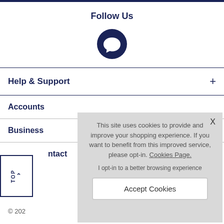Follow Us
[Figure (illustration): Dark navy circular social media icon with a speech/chat bubble symbol in white]
Help & Support
Accounts
Business
Contact
^ TOP
© 2022
This site uses cookies to provide and improve your shopping experience. If you want to benefit from this improved service, please opt-in. Cookies Page.
I opt-in to a better browsing experience
Accept Cookies